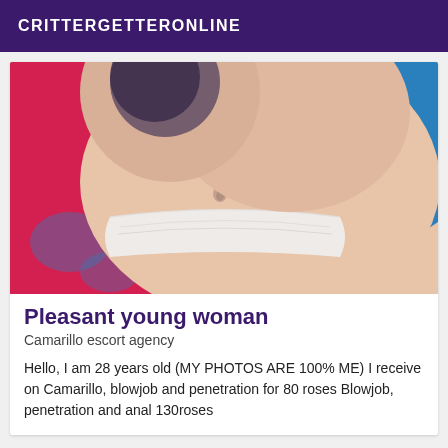CRITTERGETTERONLINE
[Figure (photo): Close-up photo of a young woman's midsection with a belly button piercing, wearing white lace underwear, with red fabric and blue patterned fabric visible in background]
Pleasant young woman
Camarillo escort agency
Hello, I am 28 years old (MY PHOTOS ARE 100% ME) I receive on Camarillo, blowjob and penetration for 80 roses Blowjob, penetration and anal 130roses